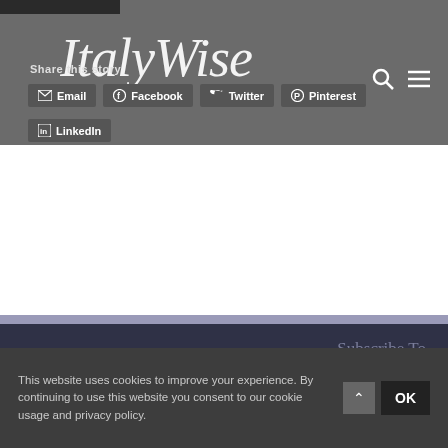[Figure (logo): ItalyWise website logo - italic script text in white on gray background]
Share this story
Email
Facebook
Twitter
Pinterest
LinkedIn
Subscribe To My Blog Via
This website uses cookies to improve your experience. By continuing to use this website you consent to our cookie usage and privacy policy.